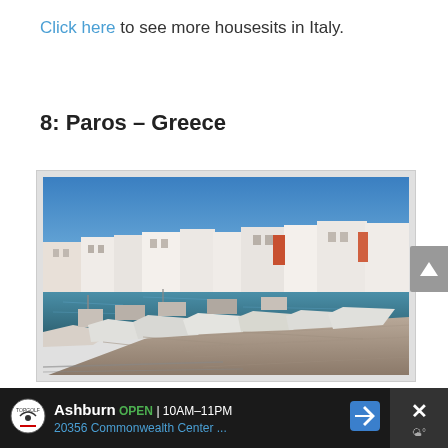Click here to see more housesits in Italy.
8: Paros – Greece
[Figure (photo): A photograph of a Greek harbor in Paros showing white fishing boats moored at a stone dock, with white-washed buildings along the waterfront and a clear blue sky.]
Ashburn OPEN 10AM–11PM 20356 Commonwealth Center ...